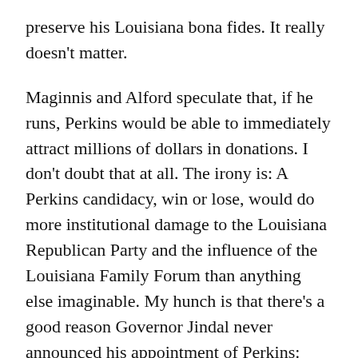preserve his Louisiana bona fides. It really doesn't matter.
Maginnis and Alford speculate that, if he runs, Perkins would be able to immediately attract millions of dollars in donations. I don't doubt that at all. The irony is: A Perkins candidacy, win or lose, would do more institutional damage to the Louisiana Republican Party and the influence of the Louisiana Family Forum than anything else imaginable. My hunch is that there's a good reason Governor Jindal never announced his appointment of Perkins: Jindal, after all, had taken a stand against the “stupid party.”
PS: There’s a reason I bolded the part of Perkins’s statement about being “closer to home;” he already lives in Washington, D.C.